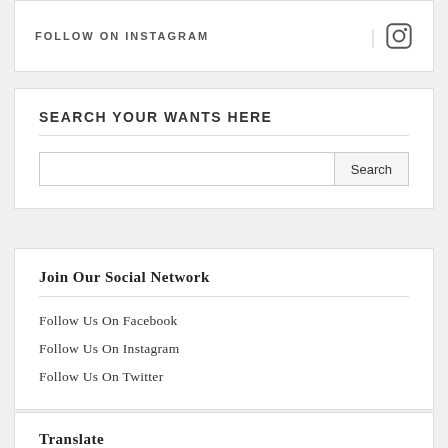FOLLOW ON INSTAGRAM
SEARCH YOUR WANTS HERE
Search
Join Our Social Network
Follow Us On Facebook
Follow Us On Instagram
Follow Us On Twitter
Translate